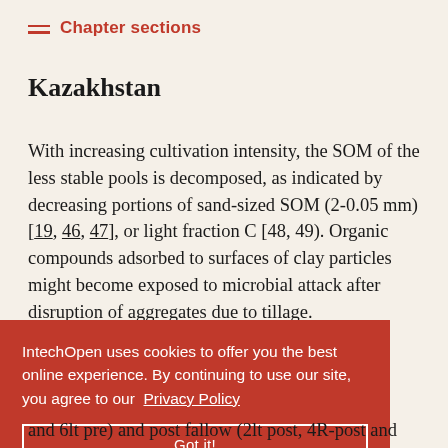Chapter sections
Kazakhstan
With increasing cultivation intensity, the SOM of the less stable pools is decomposed, as indicated by decreasing portions of sand-sized SOM (2-0.05 mm) [19, 46, 47], or light fraction C [48, 49]. Organic compounds adsorbed to surfaces of clay particles might become exposed to microbial attack after disruption of aggregates due to tillage.
r on soil SOM w-spring ear, 4-year wing). Soil ore, 4R-pre and 6lt pre) and post fallow (2lt post, 4R-post and
IntechOpen uses cookies to offer you the best online experience. By continuing to use our site, you agree to our Privacy Policy Got it!